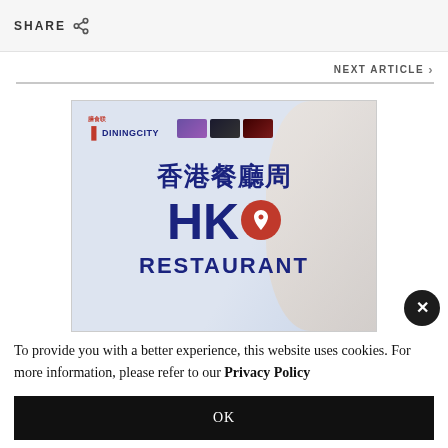SHARE
NEXT ARTICLE
[Figure (screenshot): Hong Kong Restaurant Week promotional banner from DiningCity with Chinese text 香港餐廳周 and HK RESTAURANT text with logo]
To provide you with a better experience, this website uses cookies. For more information, please refer to our Privacy Policy
OK